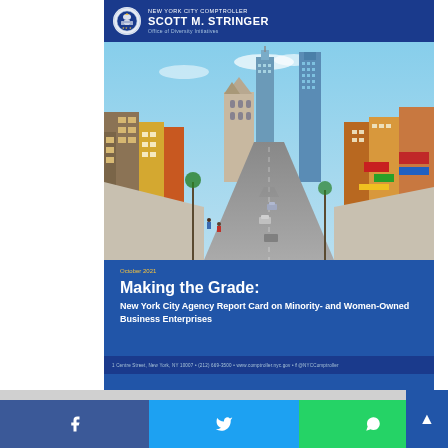NEW YORK CITY COMPTROLLER SCOTT M. STRINGER Office of Diversity Initiatives
[Figure (photo): Aerial/street-level view of a busy New York City street (appears to be Chinatown/Lower Manhattan area) with dense buildings, traffic, and colorful storefronts lining both sides]
October 2021
Making the Grade: New York City Agency Report Card on Minority- and Women-Owned Business Enterprises
1 Centre Street, New York, NY 10007 • (212) 669-3500 • www.comptroller.nyc.gov • @NYCComptroller